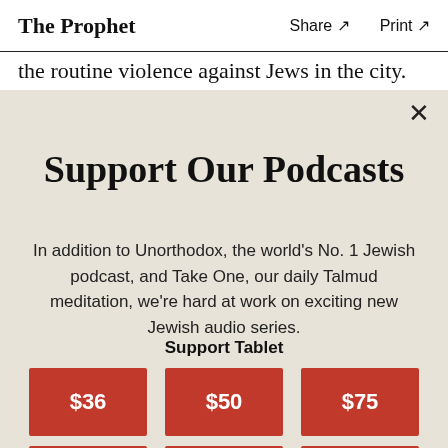The Prophet   Share ↗   Print ↗
the routine violence against Jews in the city.
Support Our Podcasts
In addition to Unorthodox, the world's No. 1 Jewish podcast, and Take One, our daily Talmud meditation, we're hard at work on exciting new Jewish audio series.
Support Tablet
[Figure (other): Three red donation buttons showing $36, $50, $75]
[Figure (other): Partial view of three more red donation buttons at the bottom]